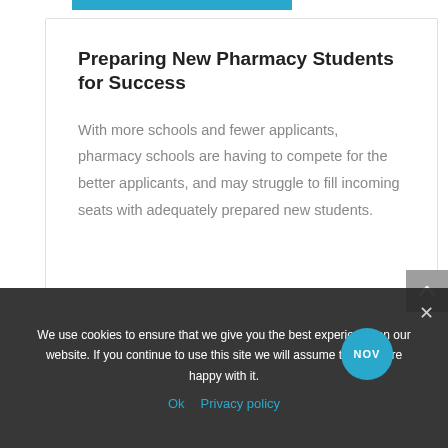Preparing New Pharmacy Students for Success
With more schools and fewer applicants, pharmacy schools are having to compete for the better applicants, and may struggle to fill incoming seats with adequately prepared new students.
We use cookies to ensure that we give you the best experience on our website. If you continue to use this site we will assume that you are happy with it.